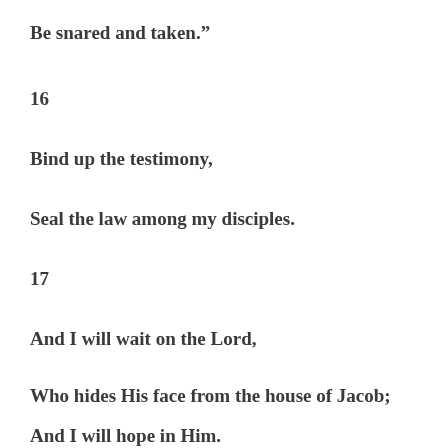Be snared and taken.”
16
Bind up the testimony,
Seal the law among my disciples.
17
And I will wait on the Lord,
Who hides His face from the house of Jacob;
And I will hope in Him.
18